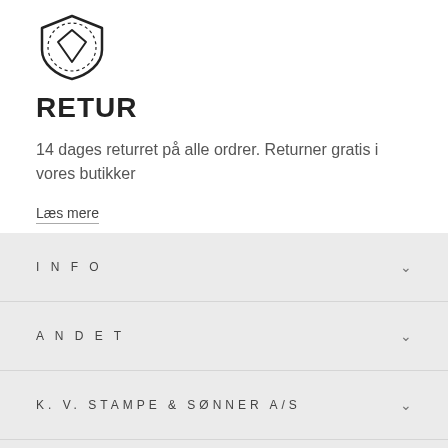[Figure (logo): Shield/badge icon with a diamond/arrow shape inside, drawn in black outline style]
RETUR
14 dages returret på alle ordrer. Returner gratis i vores butikker
Læs mere
INFO
ANDET
K. V. STAMPE & SØNNER A/S
[Figure (logo): 75 YEARS anniversary circular logo with crown icon at bottom]